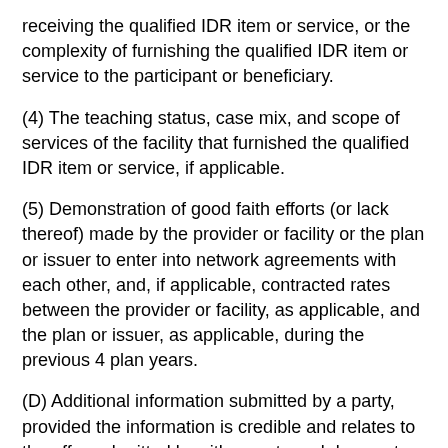receiving the qualified IDR item or service, or the complexity of furnishing the qualified IDR item or service to the participant or beneficiary.
(4) The teaching status, case mix, and scope of services of the facility that furnished the qualified IDR item or service, if applicable.
(5) Demonstration of good faith efforts (or lack thereof) made by the provider or facility or the plan or issuer to enter into network agreements with each other, and, if applicable, contracted rates between the provider or facility, as applicable, and the plan or issuer, as applicable, during the previous 4 plan years.
(D) Additional information submitted by a party, provided the information is credible and relates to the offer submitted by either party and does not include information on factors described in